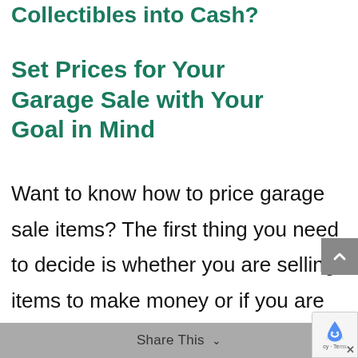Collectibles into Cash?
Set Prices for Your Garage Sale with Your Goal in Mind
Want to know how to price garage sale items? The first thing you need to decide is whether you are selling items to make money or if you are hoping to get others to pay you something to cart off stuff you don't want anymore.
Share This